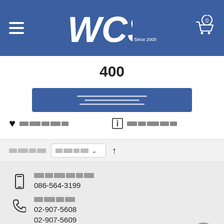WCS Since 2000 — navigation header with logo and cart
400
[Thai text button — search/filter action]
[Thai text: wishlist label] [Thai text: compare label]
[Sort bar with dropdown selector and sort direction]
[Thai text: mobile phone label] 086-564-3199
[Thai text: telephone label] 02-907-5608 02-907-5609